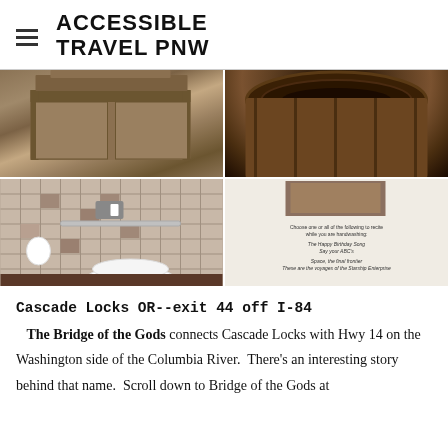ACCESSIBLE TRAVEL PNW
[Figure (photo): Two photos side by side: left shows a wooden crate/box display, right shows a wooden barrel from above]
[Figure (photo): Two photos side by side: left shows an accessible bathroom with grab bars and toilet with tiled walls, right shows a handwashing sign with text about reciting things while handwashing]
Cascade Locks OR--exit 44 off I-84
The Bridge of the Gods connects Cascade Locks with Hwy 14 on the Washington side of the Columbia River. There's an interesting story behind that name. Scroll down to Bridge of the Gods at